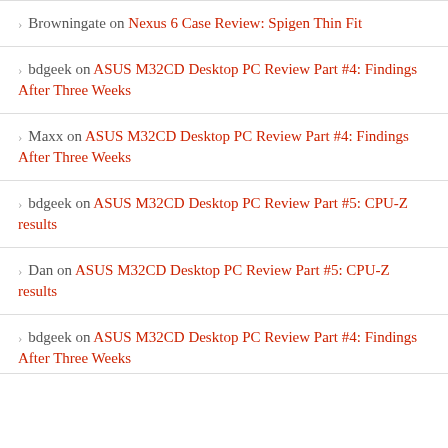Browningate on Nexus 6 Case Review: Spigen Thin Fit
bdgeek on ASUS M32CD Desktop PC Review Part #4: Findings After Three Weeks
Maxx on ASUS M32CD Desktop PC Review Part #4: Findings After Three Weeks
bdgeek on ASUS M32CD Desktop PC Review Part #5: CPU-Z results
Dan on ASUS M32CD Desktop PC Review Part #5: CPU-Z results
bdgeek on ASUS M32CD Desktop PC Review Part #4: Findings After Three Weeks